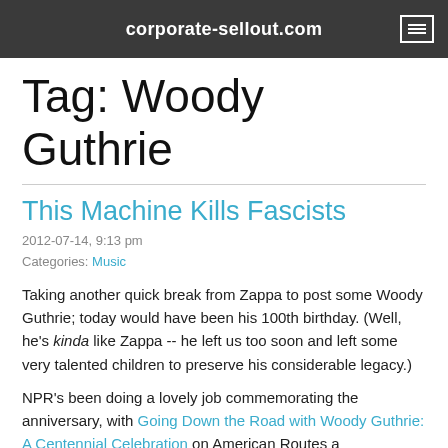corporate-sellout.com
Tag: Woody Guthrie
This Machine Kills Fascists
2012-07-14, 9:13 pm
Categories: Music
Taking another quick break from Zappa to post some Woody Guthrie; today would have been his 100th birthday. (Well, he's kinda like Zappa -- he left us too soon and left some very talented children to preserve his considerable legacy.)
NPR's been doing a lovely job commemorating the anniversary, with Going Down the Road with Woody Guthrie: A Centennial Celebration on American Routes a